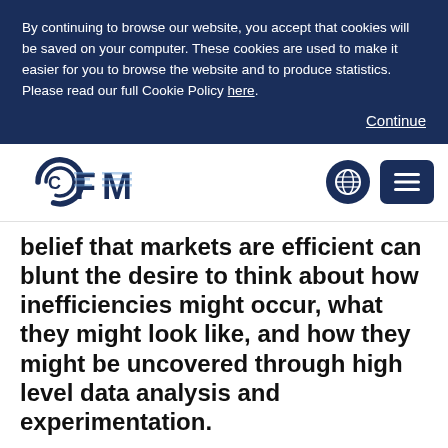By continuing to browse our website, you accept that cookies will be saved on your computer. These cookies are used to make it easier for you to browse the website and to produce statistics. Please read our full Cookie Policy here.
Continue
[Figure (logo): CFM logo in dark blue with circular C, striped F and M letters]
[Figure (other): Globe icon button (dark blue circle with world map)]
[Figure (other): Hamburger menu button (dark blue rounded rectangle with three horizontal lines)]
belief that markets are efficient can blunt the desire to think about how inefficiencies might occur, what they might look like, and how they might be uncovered through high level data analysis and experimentation.
"Physicists are trained to do experiments